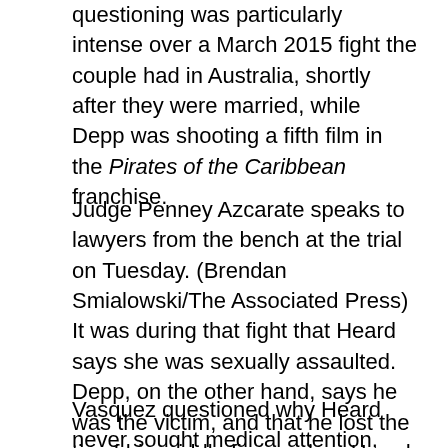questioning was particularly intense over a March 2015 fight the couple had in Australia, shortly after they were married, while Depp was shooting a fifth film in the Pirates of the Caribbean franchise.
Judge Penney Azcarate speaks to lawyers from the bench at the trial on Tuesday. (Brendan Smialowski/The Associated Press) It was during that fight that Heard says she was sexually assaulted. Depp, on the other hand, says he was the victim, and that he lost the tip of his middle finger when Heard threw a vodka bottle at him.
Vasquez questioned why Heard never sought medical attention, even though she said her